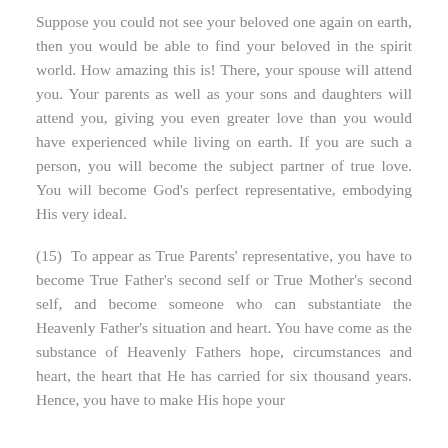Suppose you could not see your beloved one again on earth, then you would be able to find your beloved in the spirit world. How amazing this is! There, your spouse will attend you. Your parents as well as your sons and daughters will attend you, giving you even greater love than you would have experienced while living on earth. If you are such a person, you will become the subject partner of true love. You will become God's perfect representative, embodying His very ideal.
(15)  To appear as True Parents' representative, you have to become True Father's second self or True Mother's second self, and become someone who can substantiate the Heavenly Father's situation and heart. You have come as the substance of Heavenly Fathers hope, circumstances and heart, the heart that He has carried for six thousand years. Hence, you have to make His hope your